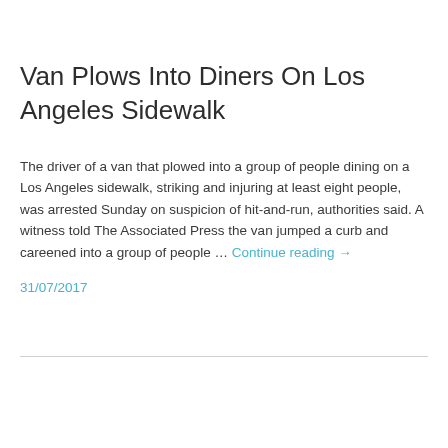Van Plows Into Diners On Los Angeles Sidewalk
The driver of a van that plowed into a group of people dining on a Los Angeles sidewalk, striking and injuring at least eight people, was arrested Sunday on suspicion of hit-and-run, authorities said. A witness told The Associated Press the van jumped a curb and careened into a group of people … Continue reading →
31/07/2017